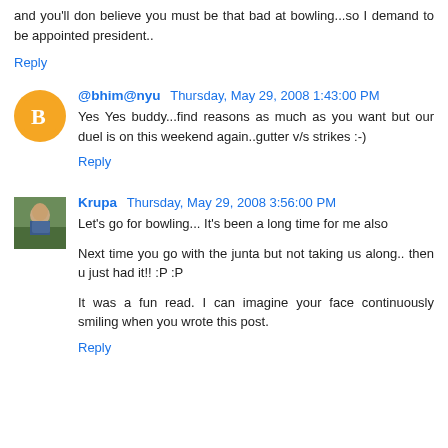and you'll don believe you must be that bad at bowling...so I demand to be appointed president..
Reply
@bhim@nyu  Thursday, May 29, 2008 1:43:00 PM
Yes Yes buddy...find reasons as much as you want but our duel is on this weekend again..gutter v/s strikes :-)
Reply
Krupa  Thursday, May 29, 2008 3:56:00 PM
Let's go for bowling... It's been a long time for me also
Next time you go with the junta but not taking us along.. then u just had it!! :P :P
It was a fun read. I can imagine your face continuously smiling when you wrote this post.
Reply